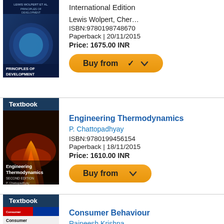[Figure (illustration): Book cover: Principles of Development, International Edition]
International Edition
Lewis Wolpert, Cher…
ISBN:9780198748670
Paperback | 20/11/2015
Price: 1675.00 INR
[Figure (other): Buy from button with chevron]
Textbook
[Figure (illustration): Book cover: Engineering Thermodynamics, P. Chattopadhyay]
Engineering Thermodynamics
P. Chattopadhyay
ISBN:9780199456154
Paperback | 18/11/2015
Price: 1610.00 INR
[Figure (other): Buy from button with chevron]
Textbook
[Figure (illustration): Book cover: Consumer Behaviour]
Consumer Behaviour
Rajneesh Krishna
ISBN:9780198062929